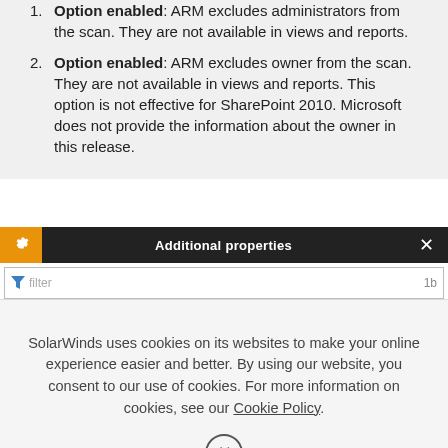Option enabled: ARM excludes administrators from the scan. They are not available in views and reports.
Option enabled: ARM excludes owner from the scan. They are not available in views and reports. This option is not effective for SharePoint 2010. Microsoft does not provide the information about the owner in this release.
[Figure (screenshot): Dialog box titled 'Additional properties' with a gear icon on the left in orange, a close X on the right, and a filter input row below.]
SolarWinds uses cookies on its websites to make your online experience easier and better. By using our website, you consent to our use of cookies. For more information on cookies, see our Cookie Policy.